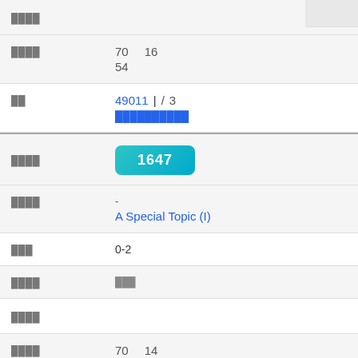| Field | Value |
| --- | --- |
| ████ |  |
| ████ | 70  16
54 |
| ██ | 49011 |  /  3
██████████ |
| ████ | 1647 |
| ████ | -
A Special Topic (I) |
| ███ | 0-2 |
| ████ | ███ |
| ████ |  |
| ████ | 70  14
56 |